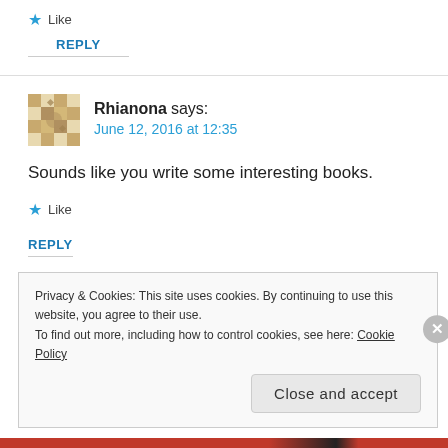★ Like
REPLY
Rhianona says:
June 12, 2016 at 12:35
Sounds like you write some interesting books.
★ Like
REPLY
Privacy & Cookies: This site uses cookies. By continuing to use this website, you agree to their use.
To find out more, including how to control cookies, see here: Cookie Policy
Close and accept